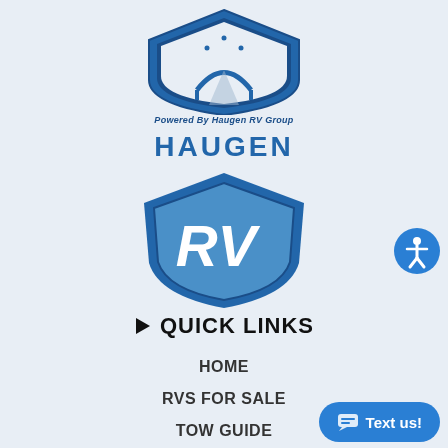[Figure (logo): Top logo: shield with St. Louis Gateway Arch and road, text 'Powered By Haugen RV Group']
[Figure (logo): Haugen RV logo: blue shield with 'HAUGEN' text above and 'RV' lettering inside shield]
[Figure (illustration): Accessibility icon: blue circle with white universal accessibility figure]
QUICK LINKS
HOME
RVS FOR SALE
TOW GUIDE
TRADE IN
[Figure (illustration): Text us button: blue rounded rectangle with speech bubble icon and 'Text us!' text]